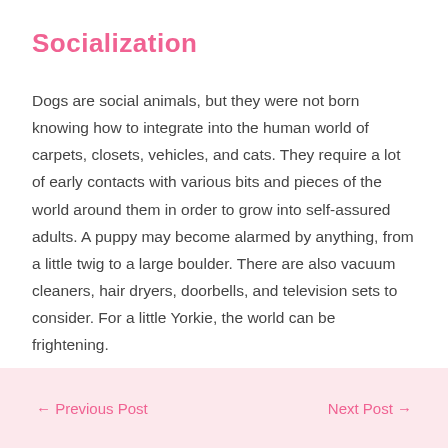Socialization
Dogs are social animals, but they were not born knowing how to integrate into the human world of carpets, closets, vehicles, and cats. They require a lot of early contacts with various bits and pieces of the world around them in order to grow into self-assured adults. A puppy may become alarmed by anything, from a little twig to a large boulder. There are also vacuum cleaners, hair dryers, doorbells, and television sets to consider. For a little Yorkie, the world can be frightening.
← Previous Post   Next Post →